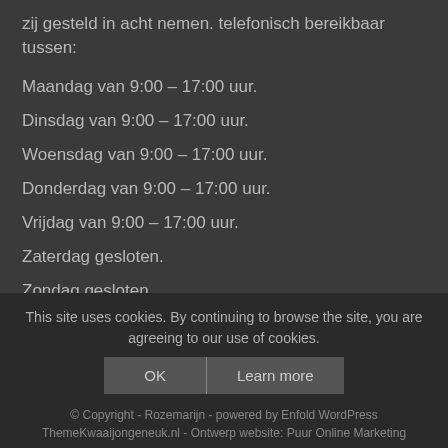zij gesteld in acht nemen. telefonisch bereikbaar tussen:
Maandag van 9:00 – 17:00 uur.
Dinsdag van 9:00 – 17:00 uur.
Woensdag van 9:00 – 17:00 uur.
Donderdag van 9:00 – 17:00 uur.
Vrijdag van 9:00 – 17:00 uur.
Zaterdag gesloten.
Zondag gesloten.
Op zon- en feestdagen zijn wij gesloten.
This site uses cookies. By continuing to browse the site, you are agreeing to our use of cookies. OK Learn more © Copyright - Rozemarijn - powered by Enfold WordPress ThemeKwaaijongeneuk.nl - Ontwerp website: Puur Online Marketing